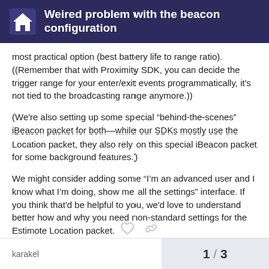Weired problem with the beacon configuration
most practical option (best battery life to range ratio). ((Remember that with Proximity SDK, you can decide the trigger range for your enter/exit events programmatically, it's not tied to the broadcasting range anymore.))
(We're also setting up some special “behind-the-scenes” iBeacon packet for both—while our SDKs mostly use the Location packet, they also rely on this special iBeacon packet for some background features.)
We might consider adding some “I’m an advanced user and I know what I’m doing, show me all the settings” interface. If you think that'd be helpful to you, we'd love to understand better how and why you need non-standard settings for the Estimote Location packet.
1 / 3  karakel